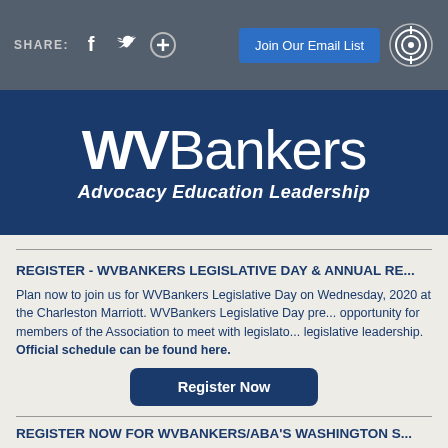SHARE: [facebook] [twitter] [+]  Join Our Email List  [target icon]
[Figure (logo): WVBankers logo with tagline 'Advocacy Education Leadership' on dark blue background]
REGISTER - WVBANKERS LEGISLATIVE DAY & ANNUAL RE...
Plan now to join us for WVBankers Legislative Day on Wednesday, 2020 at the Charleston Marriott. WVBankers Legislative Day presents an opportunity for members of the Association to meet with legislators and legislative leadership. Official schedule can be found here.
Register Now
REGISTER NOW FOR WVBANKERS/ABA'S WASHINGTON S...
Registrations are now being accepted for the 2020 WVBA/ABA Washington Summit, to be held March 23-25 in Washington, D.C. The largest...